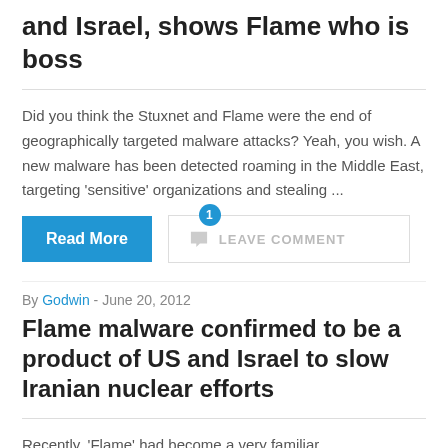and Israel, shows Flame who is boss
Did you think the Stuxnet and Flame were the end of geographically targeted malware attacks? Yeah, you wish. A new malware has been detected roaming in the Middle East, targeting 'sensitive' organizations and stealing ...
Read More
LEAVE COMMENT
By Godwin - June 20, 2012
Flame malware confirmed to be a product of US and Israel to slow Iranian nuclear efforts
Recently, 'Flame' had become a very familiar